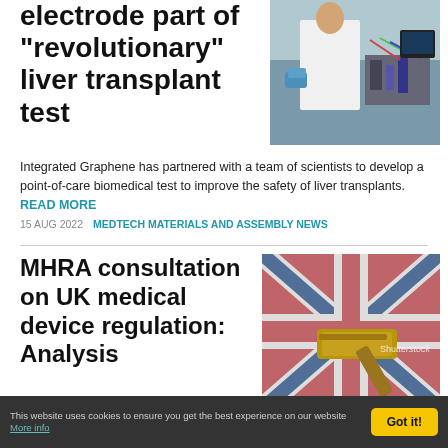electrode part of "revolutionary" liver transplant test
[Figure (photo): Scientist in white lab coat working with equipment in a laboratory]
Integrated Graphene has partnered with a team of scientists to develop a point-of-care biomedical test to improve the safety of liver transplants. READ MORE
15 AUG 2022   MEDTECH MATERIALS AND ASSEMBLY NEWS
MHRA consultation on UK medical device regulation: Analysis
[Figure (photo): Gavel on UK Union Jack flag background with Shutterstock watermark]
Jon Bolland is joined by...
This website uses cookies to ensure you get the best experience on our website More info   Got it!